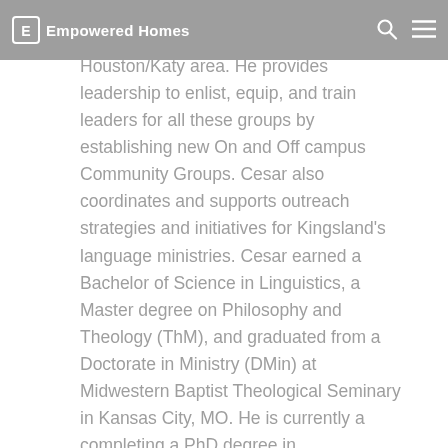Empowered Homes
internationals that reside in the Houston/Katy area. He provides leadership to enlist, equip, and train leaders for all these groups by establishing new On and Off campus Community Groups. Cesar also coordinates and supports outreach strategies and initiatives for Kingsland's language ministries. Cesar earned a Bachelor of Science in Linguistics, a Master degree on Philosophy and Theology (ThM), and graduated from a Doctorate in Ministry (DMin) at Midwestern Baptist Theological Seminary in Kansas City, MO. He is currently a completing a PhD degree in Midwestern.Cesar Perez is being